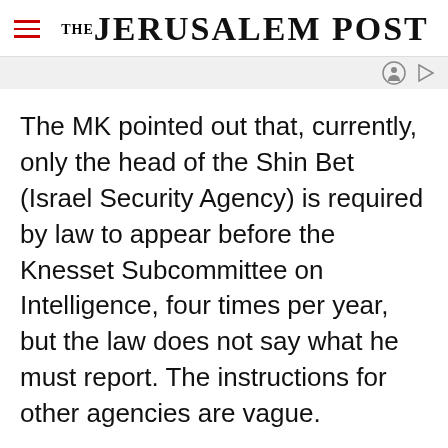THE JERUSALEM POST
The MK pointed out that, currently, only the head of the Shin Bet (Israel Security Agency) is required by law to appear before the Knesset Subcommittee on Intelligence, four times per year, but the law does not say what he must report. The instructions for other agencies are vague.
Advertisement